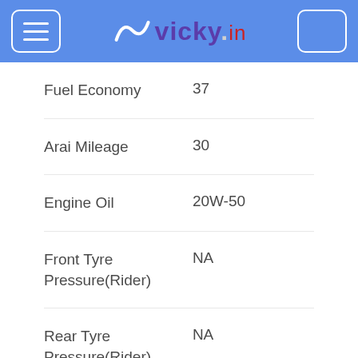vicky.in
| Specification | Value |
| --- | --- |
| Fuel Economy | 37 |
| Arai Mileage | 30 |
| Engine Oil | 20W-50 |
| Front Tyre Pressure(Rider) | NA |
| Rear Tyre Pressure(Rider) | NA |
| Front Tyre Pressure(Rider & Pilon) | NA |